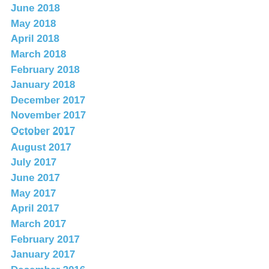June 2018
May 2018
April 2018
March 2018
February 2018
January 2018
December 2017
November 2017
October 2017
August 2017
July 2017
June 2017
May 2017
April 2017
March 2017
February 2017
January 2017
December 2016
November 2016
October 2016